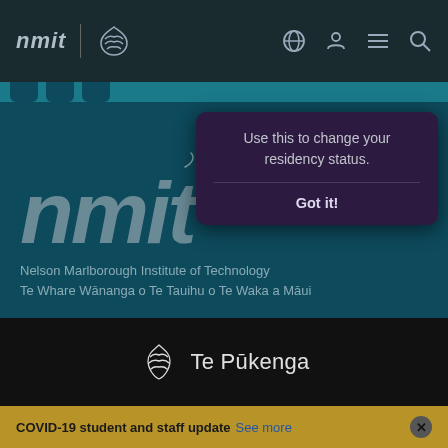[Figure (screenshot): NMIT website screenshot showing navigation bar with nmit logo and Te Pukenga logo, teal tooltip popup saying 'Use this to change your residency status.' with 'Got it!' button, large nmit logo, institute full name in English and Māori, Te Pukenga black branding bar, and COVID-19 gold notification bar]
Use this to change your residency status.
Got it!
nmit
Nelson Marlborough Institute of Technology
Te Whare Wānanga o Te Tauihu o Te Waka a Māui
Te Pūkenga
COVID-19 student and staff update See more